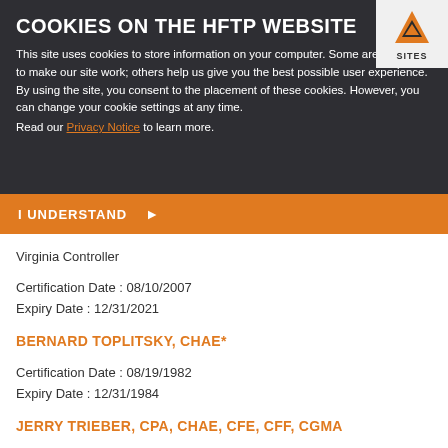COOKIES ON THE HFTP WEBSITE
This site uses cookies to store information on your computer. Some are essential to make our site work; others help us give you the best possible user experience. By using the site, you consent to the placement of these cookies. However, you can change your cookie settings at any time.
Read our Privacy Notice to learn more.
I UNDERSTAND
SHARON THRAILKILL, CHAE
Virginia Controller
Certification Date : 08/10/2007
Expiry Date : 12/31/2021
BERNARD TOPLITSKY, CHAE*
Certification Date : 08/19/1982
Expiry Date : 12/31/1984
JERRY TRIEBER, CPA, CHAE, CFE, CFF, CGMA
HEI Hotels & Resorts Director of Audit Services & Support
Certification Date : 01/05/2002
Expiry Date : 12/31/2020